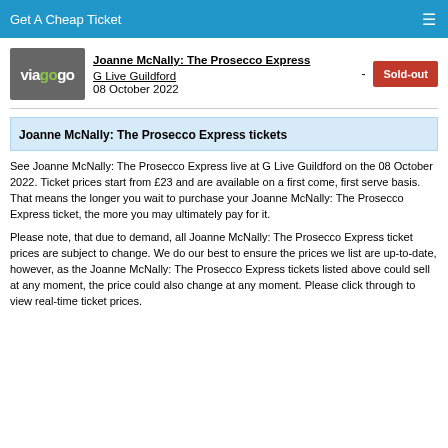Get A Cheap Ticket
[Figure (logo): Viagogo logo — grey background with white and green 'viagogo' text]
Joanne McNally: The Prosecco Express
G Live Guildford
08 October 2022
- Sold-out
Joanne McNally: The Prosecco Express tickets
See Joanne McNally: The Prosecco Express live at G Live Guildford on the 08 October 2022. Ticket prices start from £23 and are available on a first come, first serve basis. That means the longer you wait to purchase your Joanne McNally: The Prosecco Express ticket, the more you may ultimately pay for it.
Please note, that due to demand, all Joanne McNally: The Prosecco Express ticket prices are subject to change. We do our best to ensure the prices we list are up-to-date, however, as the Joanne McNally: The Prosecco Express tickets listed above could sell at any moment, the price could also change at any moment. Please click through to view real-time ticket prices.